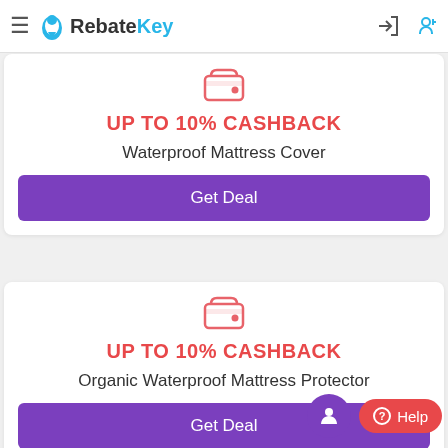RebateKey
[Figure (screenshot): Wallet/cashback icon in salmon/pink color]
UP TO 10% CASHBACK
Waterproof Mattress Cover
Get Deal
[Figure (screenshot): Wallet/cashback icon in salmon/pink color]
UP TO 10% CASHBACK
Organic Waterproof Mattress Protector
Get Deal